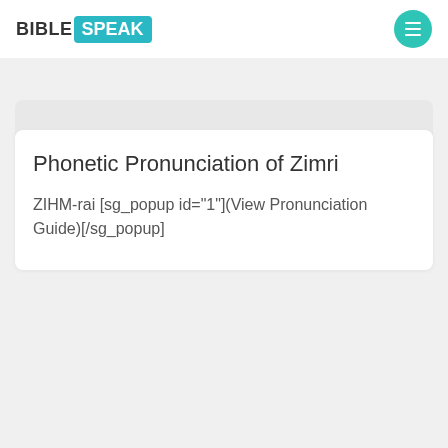BIBLE SPEAK
Phonetic Pronunciation of Zimri
ZIHM-rai [sg_popup id="1"](View Pronunciation Guide)[/sg_popup]